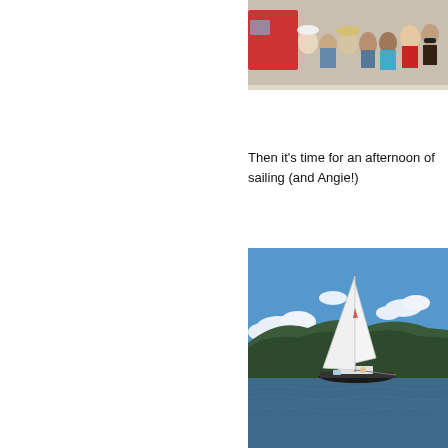[Figure (photo): Crowd of people from behind, seen from below, wearing hats and summer clothing. Partial view, cropped.]
Then it's time for an afternoon of sailing (and Angie!)
[Figure (photo): A white sailboat with tall white sails on a blue lake, with a forested hillside in the background and blue sky with white clouds above.]